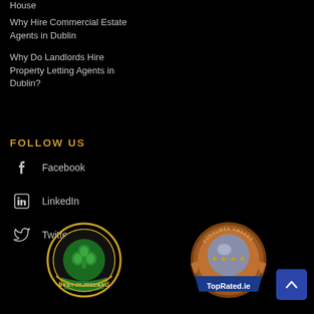House
Why Hire Commercial Estate Agents in Dublin
Why Do Landlords Hire Property Letting Agents in Dublin?
FOLLOW US
Facebook
LinkedIn
Twitter
[Figure (logo): Best in Ireland badge with green shamrock and gold circle]
[Figure (logo): TopRated.ie Consumer Awards badge with stars and bronze/gold design]